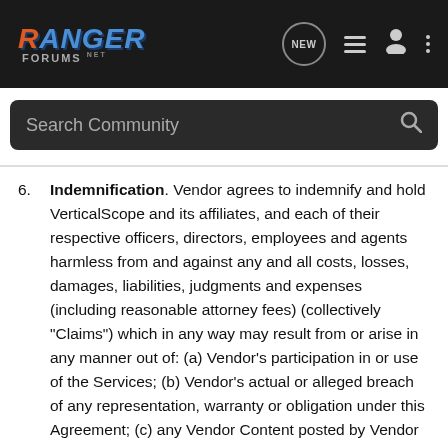[Figure (screenshot): Ranger Forums navigation bar with logo, NEW button, list icon, user icon, and more options icon on dark background]
[Figure (screenshot): Search Community search bar with magnifying glass icon on dark background]
6. Indemnification. Vendor agrees to indemnify and hold VerticalScope and its affiliates, and each of their respective officers, directors, employees and agents harmless from and against any and all costs, losses, damages, liabilities, judgments and expenses (including reasonable attorney fees) (collectively "Claims") which in any way may result from or arise in any manner out of: (a) Vendor's participation in or use of the Services; (b) Vendor's actual or alleged breach of any representation, warranty or obligation under this Agreement; (c) any Vendor Content posted by Vendor in connection with the Services, including, but not limited to, any Claim alleging that the Vendor Content (i) misappropriates a third party's name, contains libelous or defamatory content or violate a third party's right of privacy or